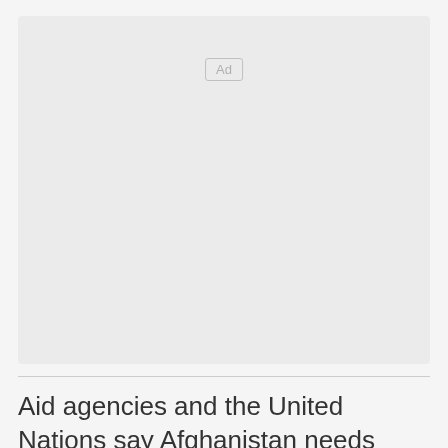[Figure (other): Advertisement placeholder box with 'Ad' label]
Aid agencies and the United Nations say Afghanistan needs billions of dollars this year